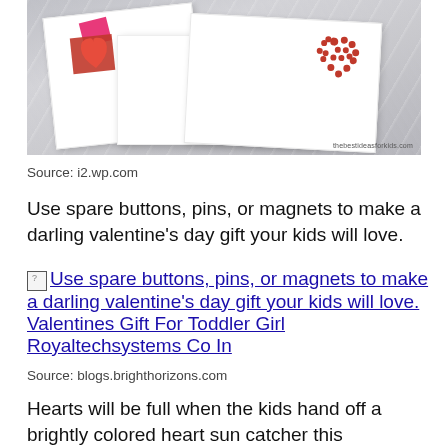[Figure (photo): Valentine's day cards with heart decorations arranged on a marble surface. One card has a red layered heart with a pink square, another has a red dotted/stamped heart pattern. Watermark reads 'thebestideasforkids.com']
Source: i2.wp.com
Use spare buttons, pins, or magnets to make a darling valentine's day gift your kids will love.
[Figure (other): Broken image placeholder with link text: 'Use spare buttons, pins, or magnets to make a darling valentine's day gift your kids will love. Valentines Gift For Toddler Girl Royaltechsystems Co In']
Source: blogs.brighthorizons.com
Hearts will be full when the kids hand off a brightly colored heart sun catcher this valentine's day.